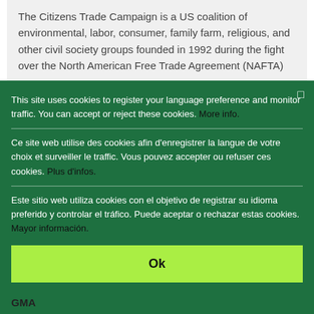The Citizens Trade Campaign is a US coalition of environmental, labor, consumer, family farm, religious, and other civil society groups founded in 1992 during the fight over the North American Free Trade Agreement (NAFTA)
Consejo de Investigaciones e Información en
This site uses cookies to register your language preference and monitor traffic. You can accept or reject these cookies. More info.
Ce site web utilise des cookies afin d'enregistrer la langue de votre choix et surveiller le traffic. Vous pouvez accepter ou refuser ces cookies. Plus d'infos.
Este sitio web utiliza cookies con el objetivo de registrar su idioma preferido y controlar el tráfico. Puede aceptar o rechazar estas cookies. Mayor información.
Ok
GMA